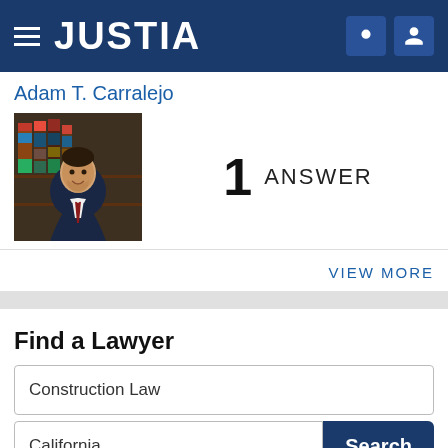JUSTIA
Adam T. Carralejo
[Figure (photo): Professional headshot of attorney Adam T. Carralejo in suit and tie, with law library bookshelf background]
1 ANSWER
VIEW MORE
Find a Lawyer
Construction Law
California
Search
Lawyers - Get Listed Now!
Get a free directory profile listing